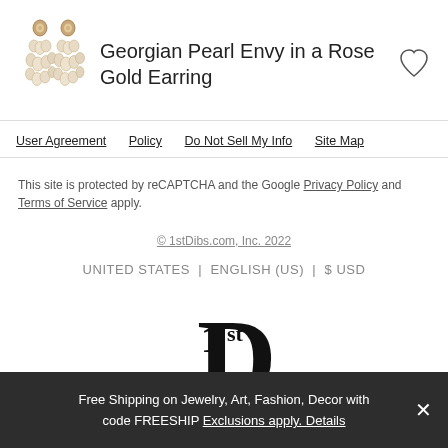[Figure (photo): Two Georgian pearl drop earrings in rose gold setting]
Georgian Pearl Envy in a Rose Gold Earring
[Figure (illustration): Heart/favorite icon outline]
User Agreement
Policy
Do Not Sell My Info
Site Map
This site is protected by reCAPTCHA and the Google Privacy Policy and Terms of Service apply.
© 1stDibs.com, Inc. 2022
UNITED STATES  |  ENGLISH (US)  |  $ USD
[Figure (logo): 1stDibs logo — stylized '1st' with a large D letterform]
Free Shipping on Jewelry, Art, Fashion, Decor with code FREESHIP Exclusions apply. Details